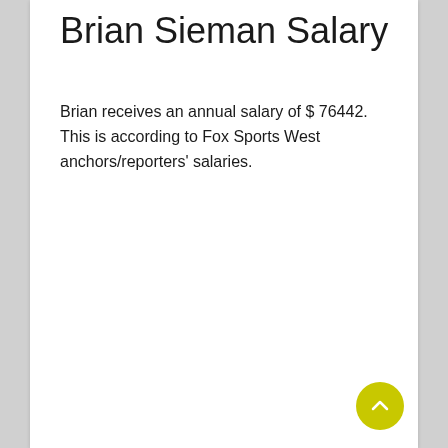Brian Sieman Salary
Brian receives an annual salary of $ 76442. This is according to Fox Sports West anchors/reporters' salaries.